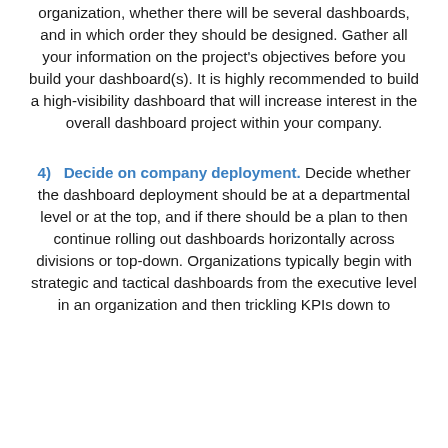organization, whether there will be several dashboards, and in which order they should be designed. Gather all your information on the project's objectives before you build your dashboard(s). It is highly recommended to build a high-visibility dashboard that will increase interest in the overall dashboard project within your company.
4) Decide on company deployment. Decide whether the dashboard deployment should be at a departmental level or at the top, and if there should be a plan to then continue rolling out dashboards horizontally across divisions or top-down. Organizations typically begin with strategic and tactical dashboards from the executive level in an organization and then trickling KPIs down to